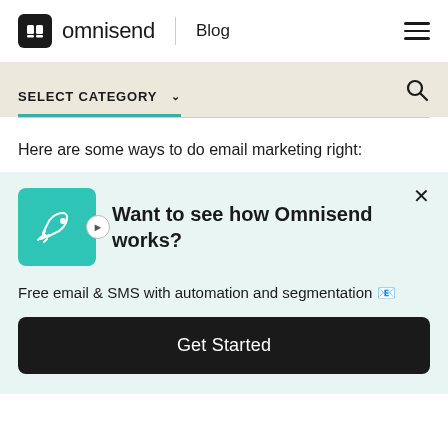omnisend | Blog
SELECT CATEGORY
Here are some ways to do email marketing right:
[Figure (screenshot): Omnisend CTA card with rocket icon on teal background, heading 'Want to see how Omnisend works?', subtext 'Free email & SMS with automation and segmentation', and a 'Get Started' button on black background.]